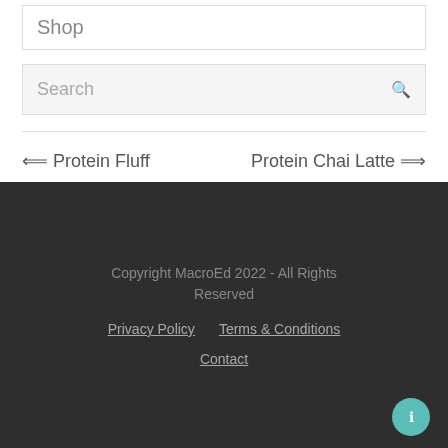Shop
Search
⮨ Protein Fluff
Protein Chai Latte ⮩
Copyright MacroEd 2022 - All Rights Reserved
Privacy Policy   Terms & Conditions
Contact